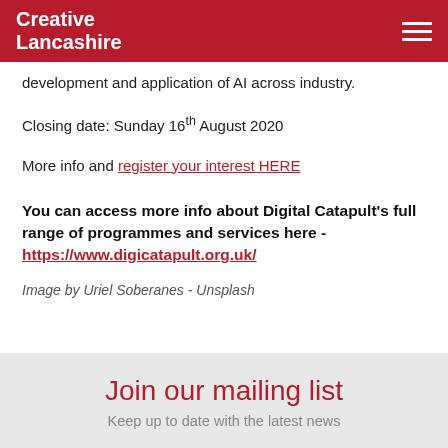Creative Lancashire
development and application of AI across industry.
Closing date: Sunday 16th August 2020
More info and register your interest HERE
You can access more info about Digital Catapult's full range of programmes and services here - https://www.digicatapult.org.uk/
Image by Uriel Soberanes - Unsplash
Join our mailing list
Keep up to date with the latest news